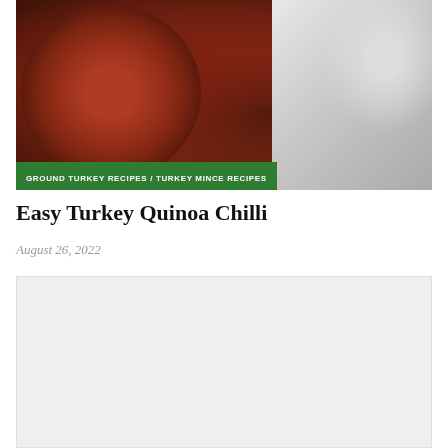[Figure (photo): Overhead photo of a bowl of turkey quinoa chilli with beans and green vegetables, with black and white striped bowls and tortilla chips in the background]
GROUND TURKEY RECIPES / TURKEY MINCE RECIPES
Easy Turkey Quinoa Chilli
August 26, 2022
[Figure (other): Advertisement/placeholder box with light grey background]